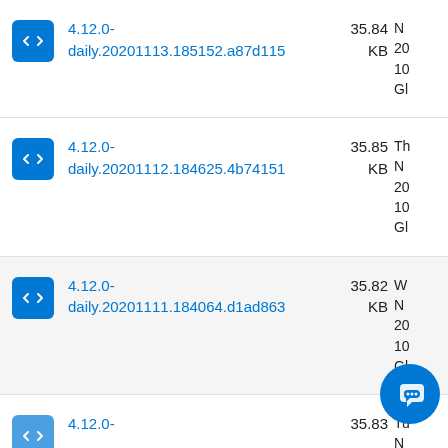4.12.0-daily.20201113.185152.a87d115 35.84 KB
4.12.0-daily.20201112.184625.4b74151 35.85 KB
4.12.0-daily.20201111.184064.d1ad863 35.82 KB
4.12.0- 35.83